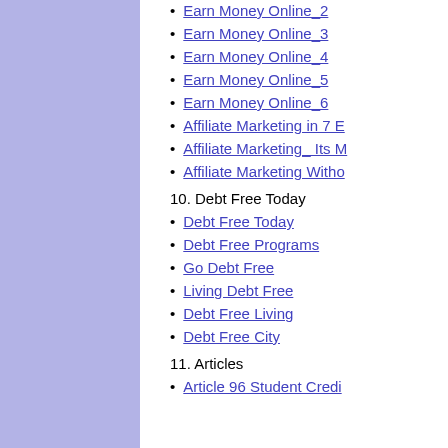Earn Money Online_2
Earn Money Online_3
Earn Money Online_4
Earn Money Online_5
Earn Money Online_6
Affiliate Marketing in 7 E
Affiliate Marketing_ Its M
Affiliate Marketing Witho
10. Debt Free Today
Debt Free Today
Debt Free Programs
Go Debt Free
Living Debt Free
Debt Free Living
Debt Free City
11. Articles
Article 96 Student Credi